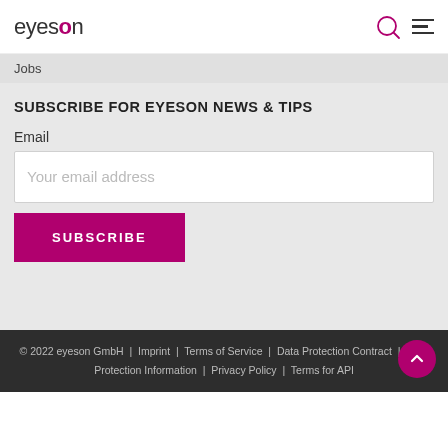eyeson
Jobs
SUBSCRIBE FOR EYESON NEWS & TIPS
Email
Your email address
SUBSCRIBE
© 2022 eyeson GmbH | Imprint | Terms of Service | Data Protection Contract | Data Protection Information | Privacy Policy | Terms for API